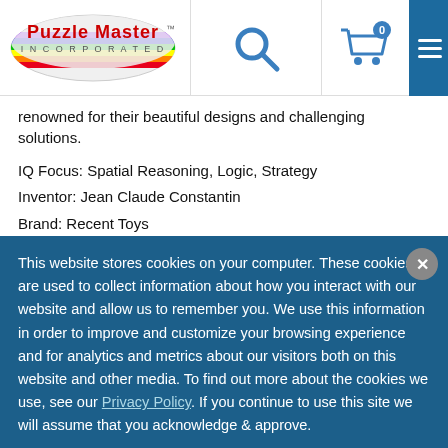[Figure (logo): Puzzle Master Incorporated logo — colorful oval with rainbow stripe and text]
[Figure (illustration): Search icon (magnifying glass)]
[Figure (illustration): Shopping cart icon with badge showing 0]
[Figure (illustration): Hamburger menu icon (three horizontal lines) on blue background]
renowned for their beautiful designs and challenging solutions.
IQ Focus: Spatial Reasoning, Logic, Strategy
Inventor: Jean Claude Constantin
Brand: Recent Toys
Ages: 14+
This website stores cookies on your computer. These cookies are used to collect information about how you interact with our website and allow us to remember you. We use this information in order to improve and customize your browsing experience and for analytics and metrics about our visitors both on this website and other media. To find out more about the cookies we use, see our Privacy Policy. If you continue to use this site we will assume that you acknowledge & approve.
I AGREE